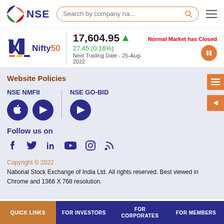NSE — Search by company na...
Nifty50  17,604.95 ▲  27.45 (0.16%)  Normal Market has Closed  Next Trading Date - 25-Aug-2022
Website Policies
NSE NMFII  NSE GO-BID
Follow us on
Copyright © 2022
National Stock Exchange of India Ltd. All rights reserved. Best viewed in Chrome and 1366 X 768 resolution.
QUICK LINKS  FOR INVESTORS  FOR CORPORATES  FOR MEMBERS